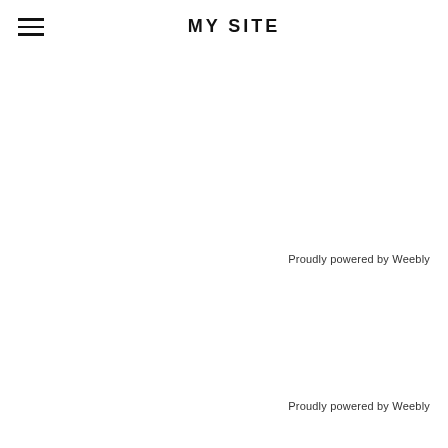MY SITE
Proudly powered by Weebly
Proudly powered by Weebly